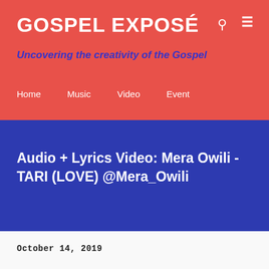GOSPEL EXPOSÉ
Uncovering the creativity of the Gospel
Home   Music   Video   Event
Audio + Lyrics Video: Mera Owili - TARI (LOVE) @Mera_Owili
October 14, 2019